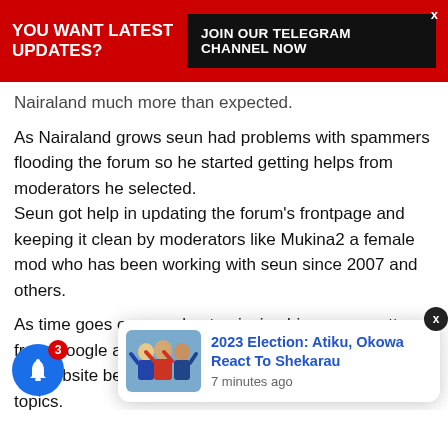YOU WANT LATEST UPDATES? JOIN OUR TELEGRAM CHANNEL NOW
Nairaland much more than expected.
As Nairaland grows seun had problems with spammers flooding the forum so he started getting helps from moderators he selected.
Seun got help in updating the forum's frontpage and keeping it clean by moderators like Mukina2 a female mod who has been working with seun since 2007 and others.
As time goes on seun kept enjoying his money gotten from Google ads until year 2012 when Google removed his website because nairaland has too many sexual topics.
Which made seu... and just li... facebook.com,linkedin.com and etc.
[Figure (screenshot): Notification popup showing '2023 Election: Atiku, Okowa React To Shekarau' with thumbnail image of people, posted 7 minutes ago]
[Figure (infographic): Blue bell notification button with red badge showing 3 notifications]